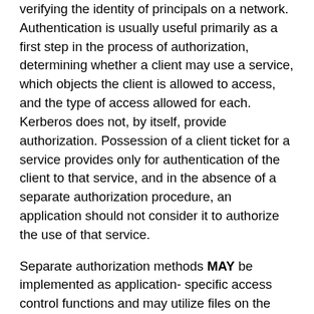verifying the identity of principals on a network. Authentication is usually useful primarily as a first step in the process of authorization, determining whether a client may use a service, which objects the client is allowed to access, and the type of access allowed for each. Kerberos does not, by itself, provide authorization. Possession of a client ticket for a service provides only for authentication of the client to that service, and in the absence of a separate authorization procedure, an application should not consider it to authorize the use of that service.
Separate authorization methods MAY be implemented as application- specific access control functions and may utilize files on the application server, on separately issued authorization credentials such as those based on proxies [Neu93], or on other authorization services. Separately authenticated authorization credentials MAY be embedded in a ticket's authorization data when encapsulated by the KDC-issued authorization data element.
Applications should not accept the mere issuance of a